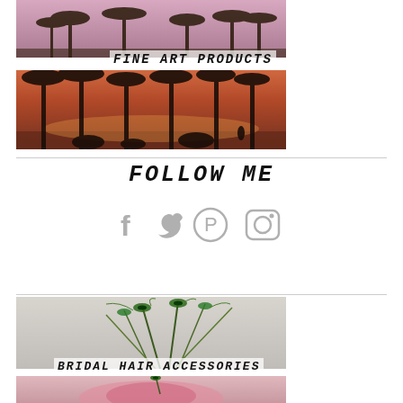[Figure (photo): Palm trees against a pink/purple sunset sky - top cropped photo]
FINE ART PRODUCTS
[Figure (photo): Palm trees at beach during vivid orange/red sunset - wider panoramic photo]
FOLLOW ME
[Figure (infographic): Social media icons: Facebook, Twitter, Pinterest, Instagram in gray]
[Figure (photo): Peacock feather hair accessory/fascinator on white background]
BRIDAL HAIR ACCESSORIES
[Figure (photo): Pink-haired model or figure wearing peacock feather bridal hair accessory]